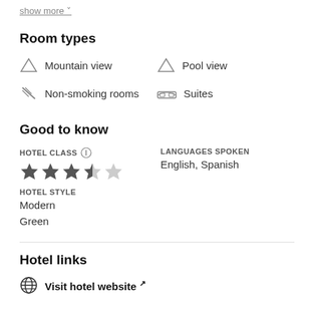show more
Room types
Mountain view
Pool view
Non-smoking rooms
Suites
Good to know
HOTEL CLASS
[Figure (other): 3.5 star rating shown as filled and half-filled stars]
LANGUAGES SPOKEN
English, Spanish
HOTEL STYLE
Modern
Green
Hotel links
Visit hotel website ↗